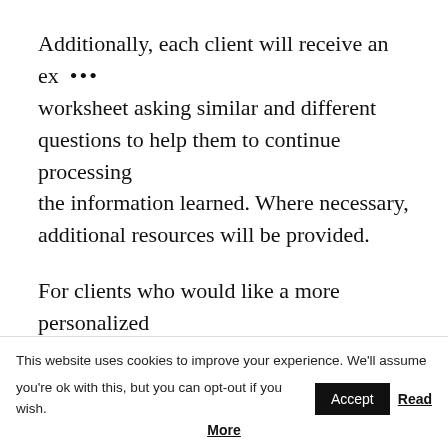Additionally, each client will receive an ex … worksheet asking similar and different questions to help them to continue processing the information learned. Where necessary, additional resources will be provided.
For clients who would like a more personalized approach to understanding and working through the research, I offer one one
This website uses cookies to improve your experience. We'll assume you're ok with this, but you can opt-out if you wish. Accept Read More